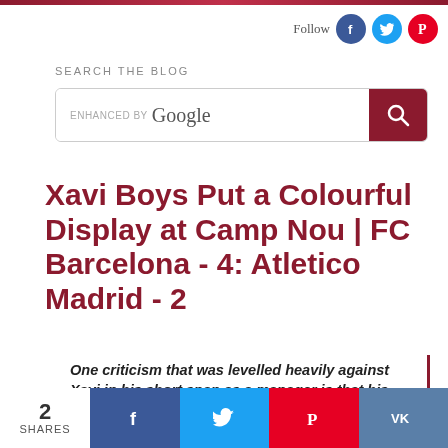Follow
SEARCH THE BLOG
[Figure (screenshot): Google search bar with 'enhanced by Google' text and a dark red search button with magnifying glass icon]
Xavi Boys Put a Colourful Display at Camp Nou | FC Barcelona - 4: Atletico Madrid - 2
One criticism that was levelled heavily against Xavi in his short span as a manager is that his
2 SHARES — social share buttons: Facebook, Twitter, Pinterest, VK